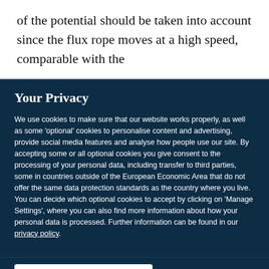of the potential should be taken into account since the flux rope moves at a high speed, comparable with the
Your Privacy
We use cookies to make sure that our website works properly, as well as some ‘optional’ cookies to personalise content and advertising, provide social media features and analyse how people use our site. By accepting some or all optional cookies you give consent to the processing of your personal data, including transfer to third parties, some in countries outside of the European Economic Area that do not offer the same data protection standards as the country where you live. You can decide which optional cookies to accept by clicking on ‘Manage Settings’, where you can also find more information about how your personal data is processed. Further information can be found in our privacy policy.
Accept all cookies
Manage preferences